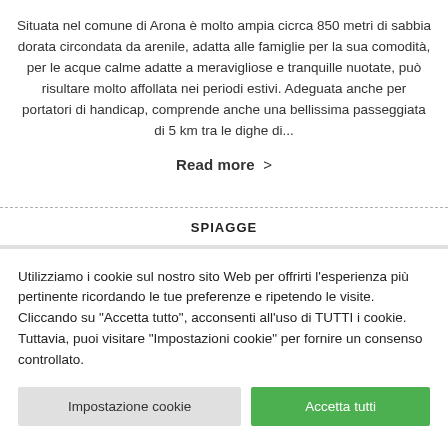Situata nel comune di Arona è molto ampia cicrca 850 metri di sabbia dorata circondata da arenile, adatta alle famiglie per la sua comodità, per le acque calme adatte a meravigliose e tranquille nuotate, può risultare molto affollata nei periodi estivi. Adeguata anche per portatori di handicap, comprende anche una bellissima passeggiata di 5 km tra le dighe di...
Read more >
SPIAGGE
Utilizziamo i cookie sul nostro sito Web per offrirti l'esperienza più pertinente ricordando le tue preferenze e ripetendo le visite. Cliccando su "Accetta tutto", acconsenti all'uso di TUTTI i cookie. Tuttavia, puoi visitare "Impostazioni cookie" per fornire un consenso controllato.
Impostazione cookie
Accetta tutti